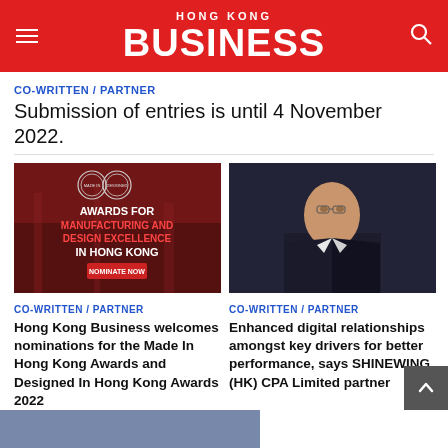HONG KONG BUSINESS
CO-WRITTEN / PARTNER
Submission of entries is until 4 November 2022.
[Figure (photo): Award banner: AWARDS FOR MANUFACTURING AND DESIGN EXCELLENCE IN HONG KONG — NOMINATE NOW]
[Figure (photo): Professional headshot of a man in a dark suit with a blue tie against a dark background]
CO-WRITTEN / PARTNER
CO-WRITTEN / PARTNER
Hong Kong Business welcomes nominations for the Made In Hong Kong Awards and Designed In Hong Kong Awards 2022
Enhanced digital relationships amongst key drivers for better performance, says SHINEWING (HK) CPA Limited partner
[Figure (photo): Partial image visible at bottom of page]